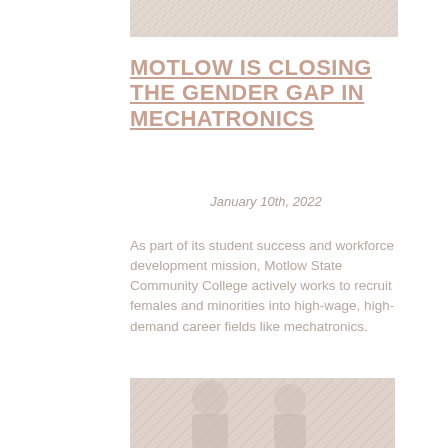[Figure (photo): Top banner photo, faded/watermarked image]
MOTLOW IS CLOSING THE GENDER GAP IN MECHATRONICS
January 10th, 2022
As part of its student success and workforce development mission, Motlow State Community College actively works to recruit females and minorities into high-wage, high-demand career fields like mechatronics.
[Figure (photo): Large faded photo of people in a mechatronics or educational setting]